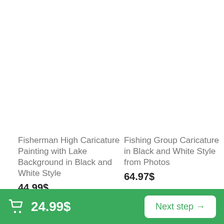Fisherman High Caricature Painting with Lake Background in Black and White Style
44.99$
Fishing Group Caricature in Black and White Style from Photos
64.97$
24.99$
Next step →